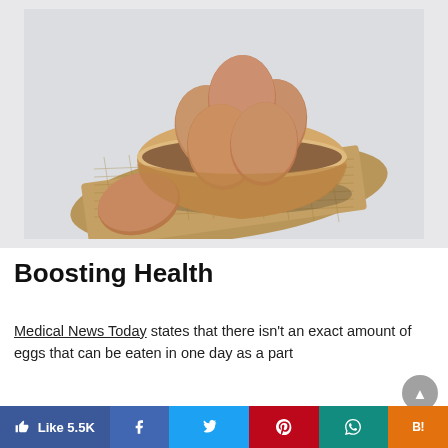[Figure (photo): Brown eggs in a wooden bowl placed on a burlap cloth, on a white/gray background. One egg rests outside the bowl on the cloth.]
Boosting Health
Medical News Today states that there isn't an exact amount of eggs that can be eaten in one day as a part